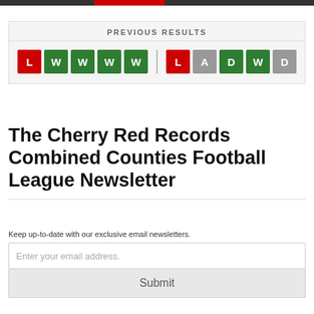PREVIOUS RESULTS
[Figure (infographic): Two sets of match result badges. Left set: L (red), W (green), W (green), W (green), W (green). Separator. Right set: L (red), A (gray), D (green), W (green), D (gray).]
The Cherry Red Records Combined Counties Football League Newsletter
Keep up-to-date with our exclusive email newsletters.
Enter your email address.
Submit